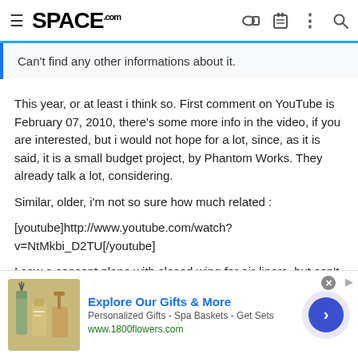SPACE.com
Can't find any other informations about it.
This year, or at least i think so. First comment on YouTube is February 07, 2010, there's some more info in the video, if you are interested, but i would not hope for a lot, since, as it is said, it is a small budget project, by Phantom Works. They already talk a lot, considering.
Similar, older, i'm not so sure how much related :
[youtube]http://www.youtube.com/watch?v=NtMkbi_D2TU[/youtube]
I saw a concent plane with closed wing for air-liners, but can't find it
[Figure (screenshot): Advertisement banner for 1800flowers.com showing spa gift baskets and personalized gifts with a blue arrow button]